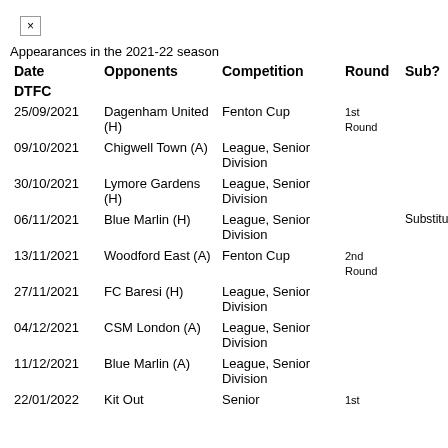×
Appearances in the 2021-22 season
| Date | Opponents | Competition | Round | Sub? | Goals |
| --- | --- | --- | --- | --- | --- |
| DTFC |  |  |  |  |  |
| 25/09/2021 | Dagenham United (H) | Fenton Cup | 1st Round |  | 0 |
| 09/10/2021 | Chigwell Town (A) | League, Senior Division |  |  | 0 |
| 30/10/2021 | Lymore Gardens (H) | League, Senior Division |  |  | 0 |
| 06/11/2021 | Blue Marlin (H) | League, Senior Division |  | Substitute | 0 |
| 13/11/2021 | Woodford East (A) | Fenton Cup | 2nd Round |  | 0 |
| 27/11/2021 | FC Baresi (H) | League, Senior Division |  |  | 0 |
| 04/12/2021 | CSM London (A) | League, Senior Division |  |  | 0 |
| 11/12/2021 | Blue Marlin (A) | League, Senior Division |  |  | 0 |
| 22/01/2022 | Kit Out | Senior | 1st |  | 0 |